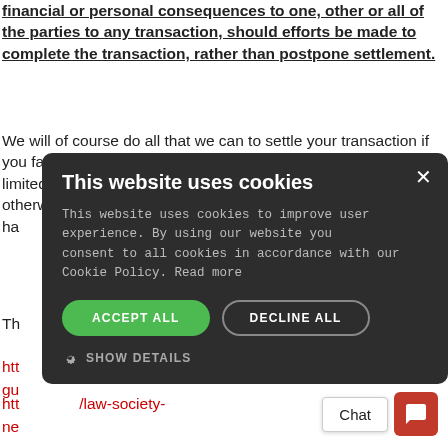financial or personal consequences to one, other or all of the parties to any transaction, should efforts be made to complete the transaction, rather than postpone settlement.
We will of course do all that we can to settle your transaction if you fall within this category, but this will only apply to a very limited number of emergency cases i.e where a person might otherwise become homeless or experience significant financial hardship in settling.
Th...
htt... us-covid-19-gu...
htt... /law-society-ne...
[Figure (screenshot): Cookie consent modal dialog with dark background. Title: 'This website uses cookies'. Body text about cookies policy. Buttons: ACCEPT ALL (green), DECLINE ALL (outlined). SHOW DETAILS option at bottom. X close button top right.]
Chat